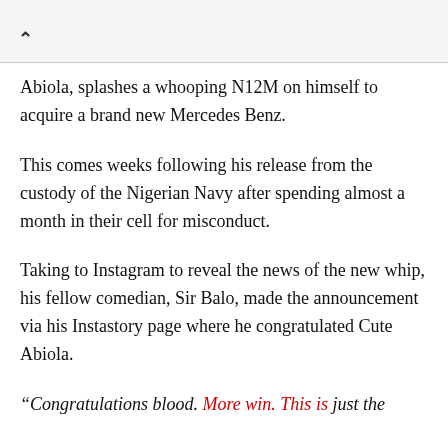Abiola, splashes a whooping N12M on himself to acquire a brand new Mercedes Benz.
This comes weeks following his release from the custody of the Nigerian Navy after spending almost a month in their cell for misconduct.
Taking to Instagram to reveal the news of the new whip, his fellow comedian, Sir Balo, made the announcement via his Instastory page where he congratulated Cute Abiola.
“Congratulations blood. More win. This is just the